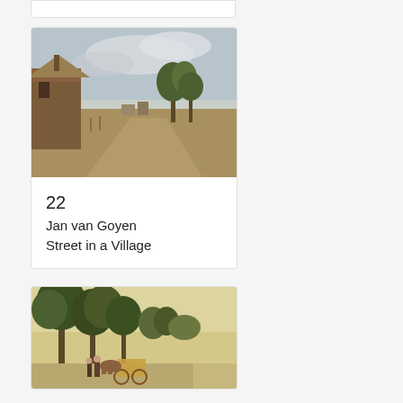[Figure (photo): Partial view of a card at the top of the page, only showing the bottom edge of the card]
[Figure (photo): Dutch landscape painting showing a village street with thatched farm buildings on the left and trees in the background, by Jan van Goyen]
22
Jan van Goyen
Street in a Village
[Figure (photo): Dutch landscape painting showing a forested scene with trees and a horse-drawn wagon with figures on a road]